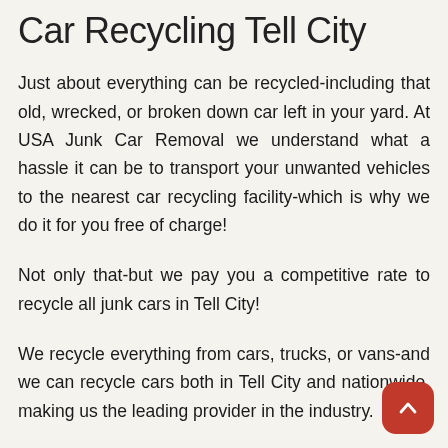Car Recycling Tell City
Just about everything can be recycled-including that old, wrecked, or broken down car left in your yard. At USA Junk Car Removal we understand what a hassle it can be to transport your unwanted vehicles to the nearest car recycling facility-which is why we do it for you free of charge!
Not only that-but we pay you a competitive rate to recycle all junk cars in Tell City!
We recycle everything from cars, trucks, or vans-and we can recycle cars both in Tell City and nationwide, making us the leading provider in the industry.